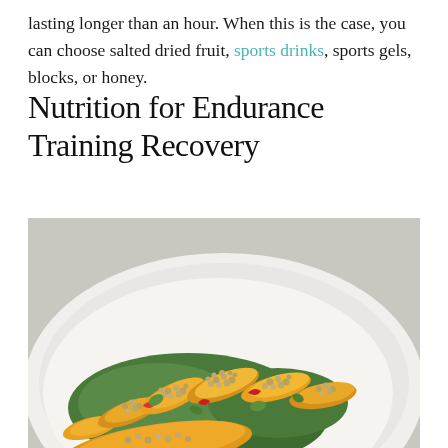lasting longer than an hour. When this is the case, you can choose salted dried fruit, sports drinks, sports gels, blocks, or honey.
Nutrition for Endurance Training Recovery
[Figure (photo): A white oval serving plate filled with colorful stuffed mini sweet peppers topped with grain (farro or barley) salad, garnished with fresh herbs and red pepper slices, on a light gray background.]